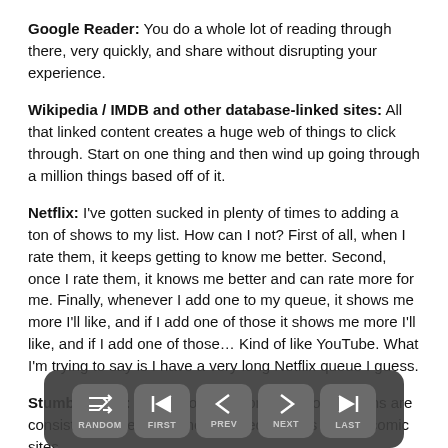Google Reader: You do a whole lot of reading through there, very quickly, and share without disrupting your experience.
Wikipedia / IMDB and other database-linked sites: All that linked content creates a huge web of things to click through. Start on one thing and then wind up going through a million things based off of it.
Netflix: I've gotten sucked in plenty of times to adding a ton of shows to my list. How can I not? First of all, when I rate them, it keeps getting to know me better. Second, once I rate them, it knows me better and can rate more for me. Finally, whenever I add one to my queue, it shows me more I'll like, and if I add one of those it shows me more I'll like, and if I add one of those... Kind of like YouTube. What I'm trying to say is I have a very long Netflix queue I guess.
StumbleUpon: People love random. Random buttons are consistently one of the most clicked buttons on webcomic sites.
Forums: S...s.
How ca... advant...
[Figure (screenshot): Navigation overlay bar with five buttons: RANDOM (shuffle icon), FIRST (skip-to-start icon), PREV (left arrow), NEXT (right arrow), LAST (skip-to-end arrow). Dark rounded rectangle background.]